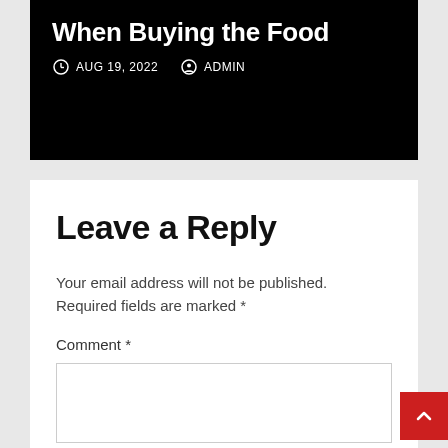When Buying the Food
AUG 19, 2022   ADMIN
Leave a Reply
Your email address will not be published. Required fields are marked *
Comment *